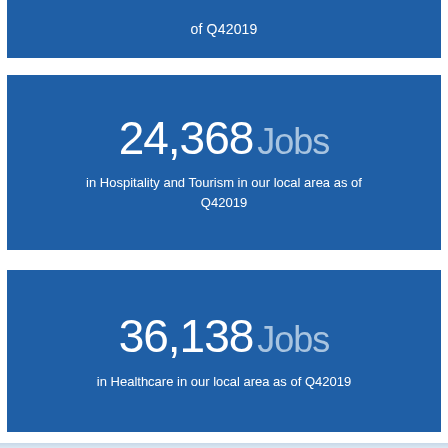of Q42019
24,368 Jobs in Hospitality and Tourism in our local area as of Q42019
36,138 Jobs in Healthcare in our local area as of Q42019
[Figure (photo): Sky and clouds background image at bottom of page]